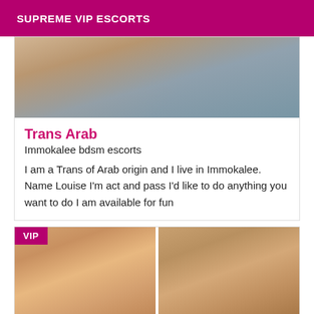SUPREME VIP ESCORTS
[Figure (photo): Blurred background photo showing a person]
Trans Arab
Immokalee bdsm escorts
I am a Trans of Arab origin and I live in Immokalee. Name Louise I'm act and pass I'd like to do anything you want to do I am available for fun
[Figure (photo): Two photos of women side by side with VIP badge]